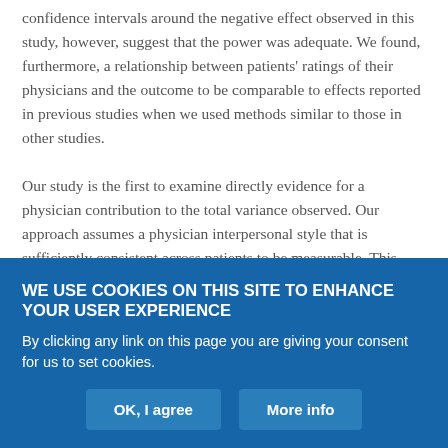confidence intervals around the negative effect observed in this study, however, suggest that the power was adequate. We found, furthermore, a relationship between patients' ratings of their physicians and the outcome to be comparable to effects reported in previous studies when we used methods similar to those in other studies.
Our study is the first to examine directly evidence for a physician contribution to the total variance observed. Our approach assumes a physician interpersonal style that is sufficiently consistent across patients to be measurable. This assumption also lies behind many
WE USE COOKIES ON THIS SITE TO ENHANCE YOUR USER EXPERIENCE
By clicking any link on this page you are giving your consent for us to set cookies.